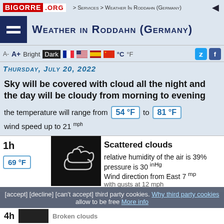BIGORRE .ORG > Services > Weather in Roddahn (Germany)
Weather in Roddahn (Germany)
A-  A+  Bright Dark  °C °F
Thursday, July 20, 2022
Sky will be covered with cloud all the night and the day will be cloudy from morning to evening
the temperature will range from 54 °F to 81 °F
wind speed up to 21 mph
1h
69 °F
Scattered clouds
relative humidity of the air is 39%
pressure is 30 inHg
Wind direction from East 7 mph
with gusts at 12 mph
[accept] [decline] [can't accept] third party cookies. Why third party cookies allow to be free More info
4h
Broken clouds